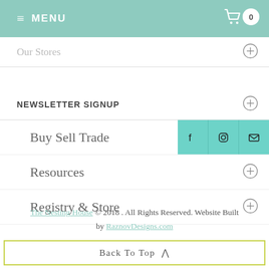≡ MENU
Our Stores
NEWSLETTER SIGNUP
Buy Sell Trade
Resources
Registry & Store
The Nesting House © 2018 . All Rights Reserved. Website Built by RaznovDesigns.com
Back To Top ^